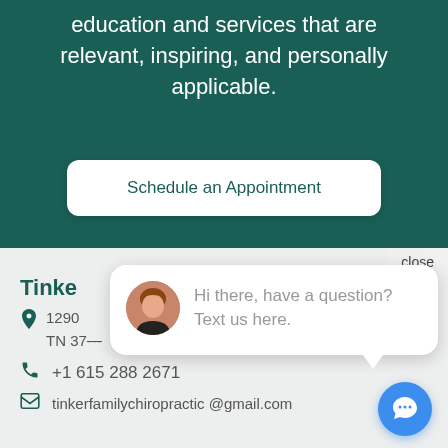education and services that are relevant, inspiring, and personally applicable.
Schedule an Appointment
close
Tinke[r Family Chiropractic]
1290[8 ...] TN 37[...]
+1 615 288 2671
tinkerfamilychiropractic @gmail.com
Hi there, have a question? Text us here.